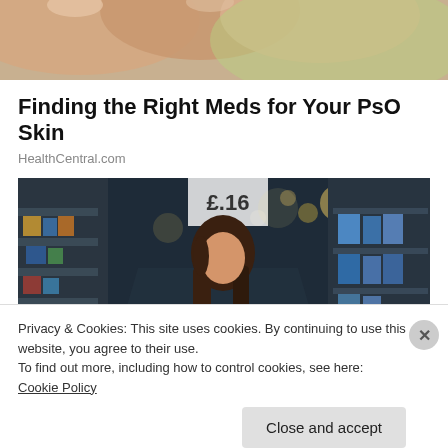[Figure (photo): Close-up photo of fingers, cropped at top of page]
Finding the Right Meds for Your PsO Skin
HealthCentral.com
[Figure (photo): Woman with long brown hair reading a product label in a pharmacy/store aisle with shelves of products and bokeh lights in background]
Privacy & Cookies: This site uses cookies. By continuing to use this website, you agree to their use.
To find out more, including how to control cookies, see here: Cookie Policy